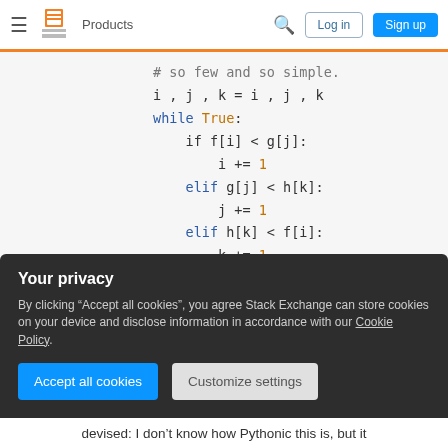Stack Overflow navigation bar with Products, Search, Log in, Sign up
[Figure (screenshot): Python code snippet showing a while loop with if/elif/else conditions and a return statement, displayed in a code block with syntax highlighting]
Your privacy
By clicking "Accept all cookies", you agree Stack Exchange can store cookies on your device and disclose information in accordance with our Cookie Policy.
devised: I don't know how Pythonic this is, but it